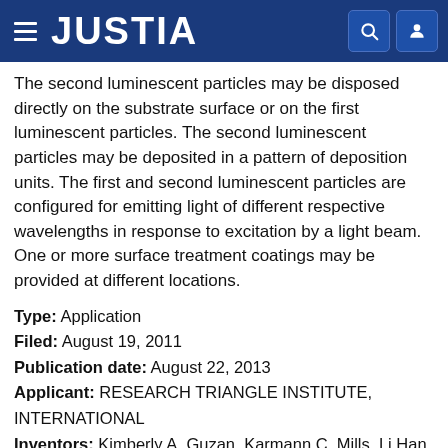JUSTIA
The second luminescent particles may be disposed directly on the substrate surface or on the first luminescent particles. The second luminescent particles may be deposited in a pattern of deposition units. The first and second luminescent particles are configured for emitting light of different respective wavelengths in response to excitation by a light beam. One or more surface treatment coatings may be provided at different locations.
Type: Application
Filed: August 19, 2011
Publication date: August 22, 2013
Applicant: RESEARCH TRIANGLE INSTITUTE, INTERNATIONAL
Inventors: Kimberly A. Guzan, Karmann C. Mills, Li Han, James Lynn Davis, Paul G. Hoertz